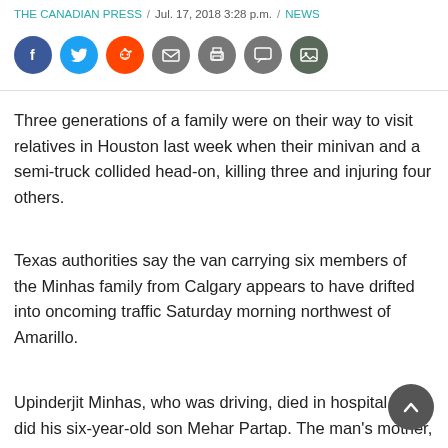THE CANADIAN PRESS / Jul. 17, 2018 3:28 p.m. / NEWS
[Figure (infographic): Social sharing buttons row: Facebook (blue), Twitter (light blue), Reddit (orange), Email (grey), Print (grey), Comment (grey), Gallery (dark grey)]
Three generations of a family were on their way to visit relatives in Houston last week when their minivan and a semi-truck collided head-on, killing three and injuring four others.
Texas authorities say the van carrying six members of the Minhas family from Calgary appears to have drifted into oncoming traffic Saturday morning northwest of Amarillo.
Upinderjit Minhas, who was driving, died in hospital, as did his six-year-old son Mehar Partap. The man's mother,